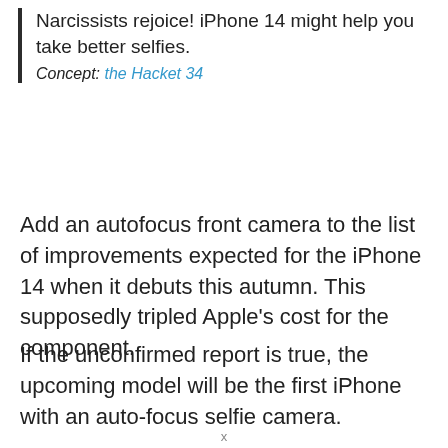Narcissists rejoice! iPhone 14 might help you take better selfies.
Concept: the Hacket 34
Add an autofocus front camera to the list of improvements expected for the iPhone 14 when it debuts this autumn. This supposedly tripled Apple’s cost for the component.
If the unconfirmed report is true, the upcoming model will be the first iPhone with an auto-focus selfie camera.
x